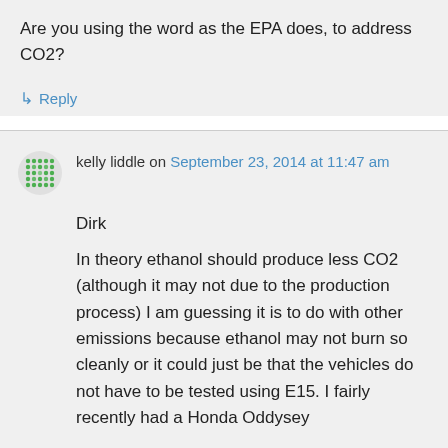Are you using the word as the EPA does, to address CO2?
↳ Reply
kelly liddle on September 23, 2014 at 11:47 am
Dirk
In theory ethanol should produce less CO2 (although it may not due to the production process) I am guessing it is to do with other emissions because ethanol may not burn so cleanly or it could just be that the vehicles do not have to be tested using E15. I fairly recently had a Honda Oddysey